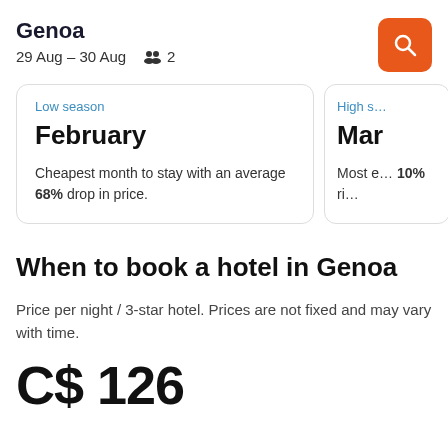Genoa
29 Aug – 30 Aug  2
Low season
February
Cheapest month to stay with an average 68% drop in price.
High season (partial)
Mar
Most expensive month, 10% rise
When to book a hotel in Genoa
Price per night / 3-star hotel. Prices are not fixed and may vary with time.
C$ 126